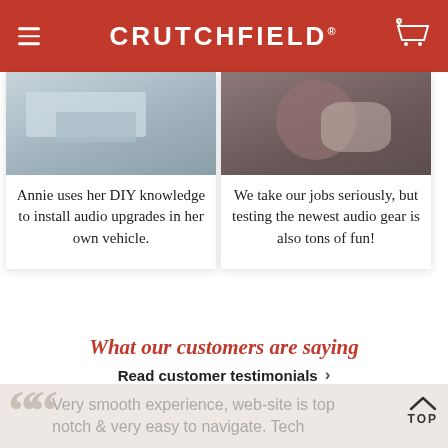CRUTCHFIELD
[Figure (photo): Photo of woman working on car audio installation - DIY]
Annie uses her DIY knowledge to install audio upgrades in her own vehicle.
[Figure (photo): Photo of man testing audio gear]
We take our jobs seriously, but testing the newest audio gear is also tons of fun!
What our customers are saying
Read customer testimonials >
Very smooth experience, web-site is top notch & very easy to navigate. Tech